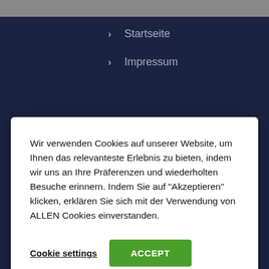> Startseite
> Impressum
Wir verwenden Cookies auf unserer Website, um Ihnen das relevanteste Erlebnis zu bieten, indem wir uns an Ihre Präferenzen und wiederholten Besuche erinnern. Indem Sie auf "Akzeptieren" klicken, erklären Sie sich mit der Verwendung von ALLEN Cookies einverstanden.
Cookie settings | ACCEPT
Zum Frühlingsplästzchen 6 / 55569 Monzingen
(0 67 51) 62 28
info@westrich-reisen.de